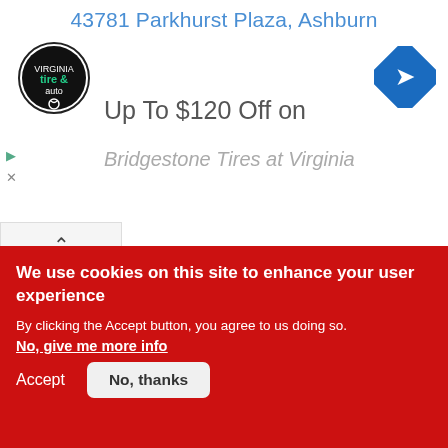[Figure (screenshot): Advertisement banner showing Virginia Tire & Auto logo with text '43781 Parkhurst Plaza, Ashburn' and 'Up To $120 Off on Bridgestone Tires at Virginia' with navigation arrow icon]
Comments for this thread are now closed
Comments  Community  🔒 Privacy Policy  1  Login ▾
♡ Favorite
Sort by Best ▾
We use cookies on this site to enhance your user experience
By clicking the Accept button, you agree to us doing so.
No, give me more info
Accept
No, thanks